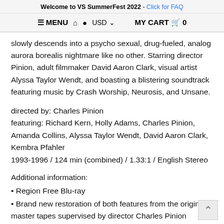Welcome to VS SummerFest 2022 - Click for FAQ
≡ MENU  🏠  👤  USD ∨     MY CART  🛒  0
slowly descends into a psycho sexual, drug-fueled, analog aurora borealis nightmare like no other. Starring director Pinion, adult filmmaker David Aaron Clark, visual artist Alyssa Taylor Wendt, and boasting a blistering soundtrack featuring music by Crash Worship, Neurosis, and Unsane.
directed by: Charles Pinion
featuring: Richard Kern, Holly Adams, Charles Pinion, Amanda Collins, Alyssa Taylor Wendt, David Aaron Clark, Kembra Pfahler
1993-1996 / 124 min (combined) / 1.33:1 / English Stereo
Additional information:
• Region Free Blu-ray
• Brand new restoration of both features from the original master tapes supervised by director Charles Pinion
• Two audio commentaries with director Charles Pinion moderated by